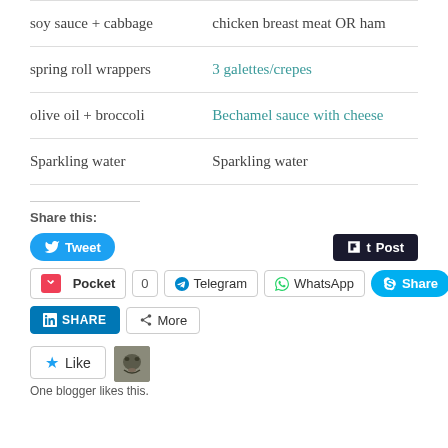| soy sauce + cabbage | chicken breast meat OR ham |
| spring roll wrappers | 3 galettes/crepes |
| olive oil + broccoli | Bechamel sauce with cheese |
| Sparkling water | Sparkling water |
Share this:
[Figure (screenshot): Social sharing buttons: Tweet, Post (Tumblr), Pocket (0), Telegram, WhatsApp, Skype Share, LinkedIn SHARE, More]
[Figure (screenshot): Like button with star icon and cat avatar thumbnail. Text: One blogger likes this.]